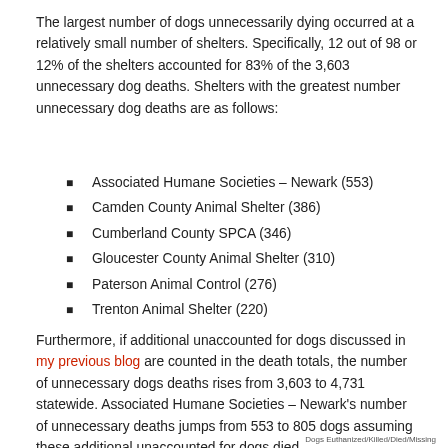The largest number of dogs unnecessarily dying occurred at a relatively small number of shelters. Specifically, 12 out of 98 or 12% of the shelters accounted for 83% of the 3,603 unnecessary dog deaths. Shelters with the greatest number unnecessary dog deaths are as follows:
Associated Humane Societies – Newark (553)
Camden County Animal Shelter (386)
Cumberland County SPCA (346)
Gloucester County Animal Shelter (310)
Paterson Animal Control (276)
Trenton Animal Shelter (220)
Furthermore, if additional unaccounted for dogs discussed in my previous blog are counted in the death totals, the number of unnecessary dogs deaths rises from 3,603 to 4,731 statewide. Associated Humane Societies – Newark's number of unnecessary deaths jumps from 553 to 805 dogs assuming these additional unaccounted for dogs died.
Dogs Euthanized/Killed/Died/Missing